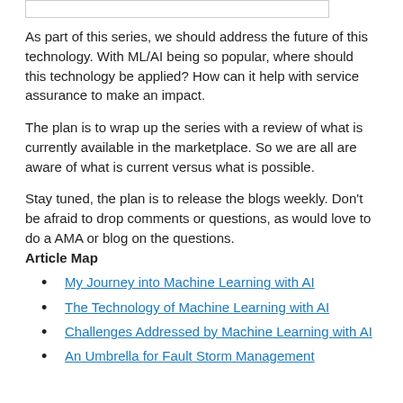[Figure (other): Empty white box with border at top of page]
As part of this series, we should address the future of this technology. With ML/AI being so popular, where should this technology be applied? How can it help with service assurance to make an impact.
The plan is to wrap up the series with a review of what is currently available in the marketplace. So we are all are aware of what is current versus what is possible.
Stay tuned, the plan is to release the blogs weekly. Don't be afraid to drop comments or questions, as would love to do a AMA or blog on the questions.
Article Map
My Journey into Machine Learning with AI
The Technology of Machine Learning with AI
Challenges Addressed by Machine Learning with AI
An Umbrella for Fault Storm Management